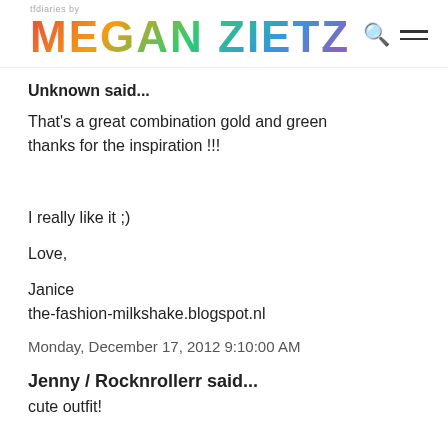tfdiaries by MEGAN ZIETZ
Unknown said...
That's a great combination gold and green thanks for the inspiration !!!


I really like it ;)

Love,

Janice
the-fashion-milkshake.blogspot.nl
Monday, December 17, 2012 9:10:00 AM
Jenny / Rocknrollerr said...
cute outfit!